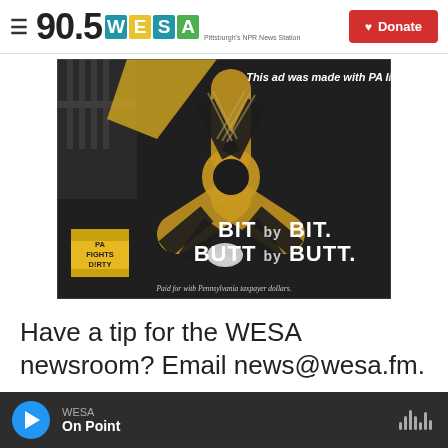90.5 WESA — Pittsburgh's NPR News Station | Donate
[Figure (photo): Anti-litter advertisement showing a radioactive hazard symbol made of cigarette butts on a dark background. Text reads 'This ad was made with PA litter.' and 'BIT by BIT. BUTT by BUTT.' with PA Fights Dirty logo. Footer: 'Paid for with Pennsylvania taxpayer dollars.']
Have a tip for the WESA newsroom? Email news@wesa.fm.
WESA — On Point